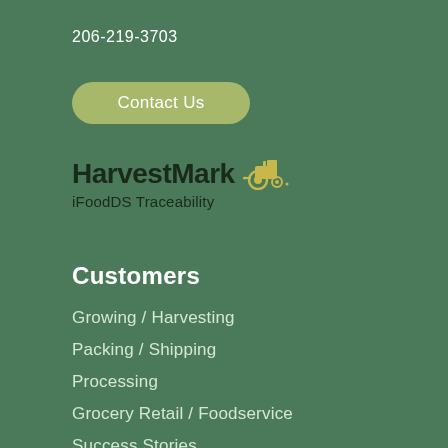206-219-3703
Contact Us
[Figure (logo): HarvestMark logo with tractor icon and subtitle 'iFoodDS Traceability']
Customers
Growing / Harvesting
Packing / Shipping
Processing
Grocery Retail / Foodservice
Success Stories